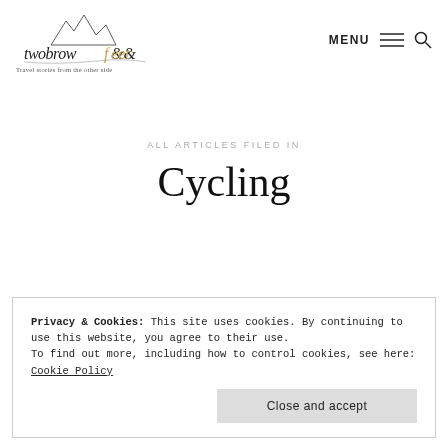[Figure (logo): twobrowfeet logo — mountain sketch above stylized handwritten text 'twobrowfeet' with footprint icons, tagline: Travel stories from the other side]
MENU
ALL ARTICLES FILED IN
Cycling
Privacy & Cookies: This site uses cookies. By continuing to use this website, you agree to their use.
To find out more, including how to control cookies, see here: Cookie Policy
Close and accept